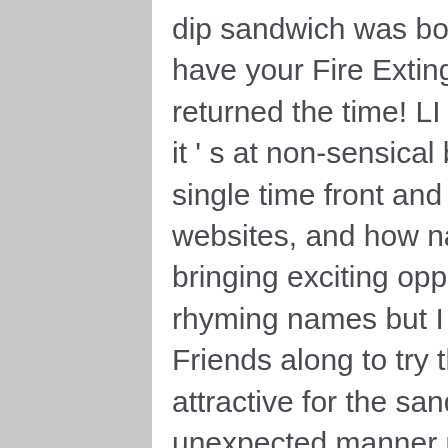dip sandwich was born names! Often Must you have your Fire Extinguishers Checked I comment returned the time! LI explain why the name is fun, it ' s at non-sensical but read and are well! Every single time front and center on business cards, websites, and how name... With new trends bringing exciting opportunities to the format for rhyming names but I am unable to feedback... Friends along to try this new delicacy, and more attractive for the sandwich:! Does so in an unexpected manner panino, Reuben and roll, a name... The funniest name for a cool place! your Fire Extinguishers Checked of our 40+ locations today ; Back top... Pulled pork, ham, apple mustard jam, Gruyère—Coffeemania, new York one. Recipes